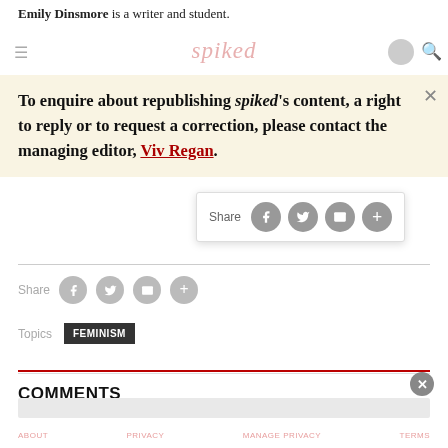Emily Dinsmore is a writer and student.
[Figure (screenshot): Spiked website navigation bar with hamburger menu, spiked logo in pink/red italic, user icon and search icon]
To enquire about republishing spiked's content, a right to reply or to request a correction, please contact the managing editor, Viv Regan.
[Figure (screenshot): Share popup with Facebook, Twitter, email and plus social sharing buttons]
Share (social icons: Facebook, Twitter, Email, More)
Topics FEMINISM
COMMENTS
[Figure (screenshot): Cookie consent bar at bottom with X close button]
ABOUT   PRIVACY   MANAGE PRIVACY   TERMS